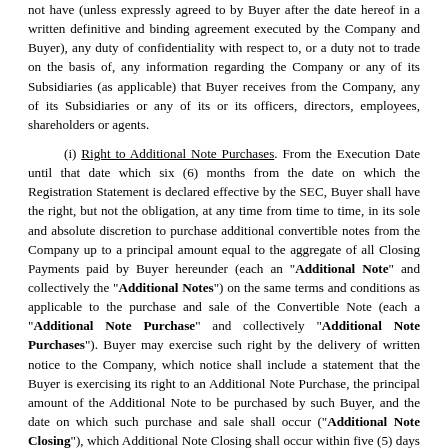not have (unless expressly agreed to by Buyer after the date hereof in a written definitive and binding agreement executed by the Company and Buyer), any duty of confidentiality with respect to, or a duty not to trade on the basis of, any information regarding the Company or any of its Subsidiaries (as applicable) that Buyer receives from the Company, any of its Subsidiaries or any of its or its officers, directors, employees, shareholders or agents.
(i) Right to Additional Note Purchases. From the Execution Date until that date which six (6) months from the date on which the Registration Statement is declared effective by the SEC, Buyer shall have the right, but not the obligation, at any time from time to time, in its sole and absolute discretion to purchase additional convertible notes from the Company up to a principal amount equal to the aggregate of all Closing Payments paid by Buyer hereunder (each an "Additional Note" and collectively the "Additional Notes") on the same terms and conditions as applicable to the purchase and sale of the Convertible Note (each a "Additional Note Purchase" and collectively "Additional Note Purchases"). Buyer may exercise such right by the delivery of written notice to the Company, which notice shall include a statement that the Buyer is exercising its right to an Additional Note Purchase, the principal amount of the Additional Note to be purchased by such Buyer, and the date on which such purchase and sale shall occur ("Additional Note Closing"), which Additional Note Closing shall occur within five (5) days following such notice by such Buyer, or such other date mutually agreed upon by the Buyer and Company. The terms and conditions of any Additional Note Purchase shall be identical to the terms and conditions set forth in this Agreement applicable to the sale of the Convertible Note, including without limitation each Additional Note will be in the form attached hereto as Exhibit A, provided that the maturity date of the Additional Note shall be the second (2nd) anniversary from the issue date